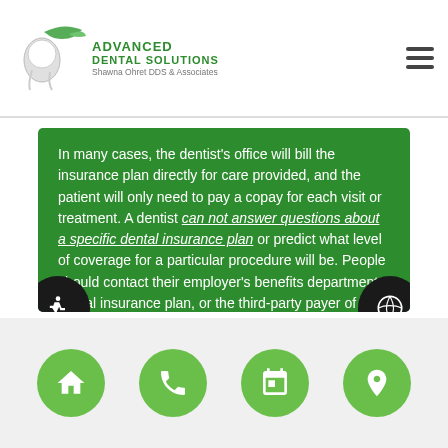Advanced Dental Solutions – Shawna Ohret DDS & Associates
In many cases, the dentist's office will bill the insurance plan directly for care provided, and the patient will only need to pay a copay for each visit or treatment. A dentist can not answer questions about a specific dental insurance plan or predict what level of coverage for a particular procedure will be. People should contact their employer's benefits department, dental insurance plan, or the third-party payer of a health plan for any questions about coverage.
Navigation icons: home, phone, calendar, location